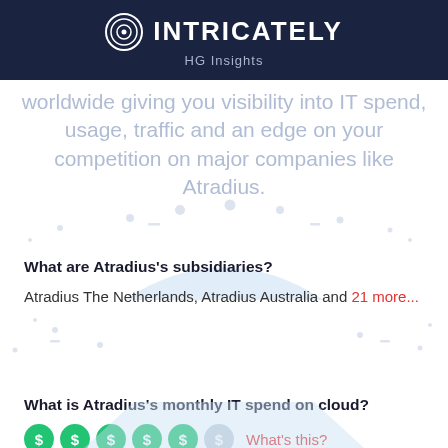[Figure (logo): Intricately HG Insights logo on dark navy background]
worldwide giving you visibility into IT spend, usage, traffic and an edge on your competition on major companies like Atradius.
What are Atradius's subsidiaries?
Atradius The Netherlands, Atradius Australia and 21 more...
What is Atradius's monthly IT spend on cloud?
$$$$$ (5 green dollar icons, 1 gray) What's this?